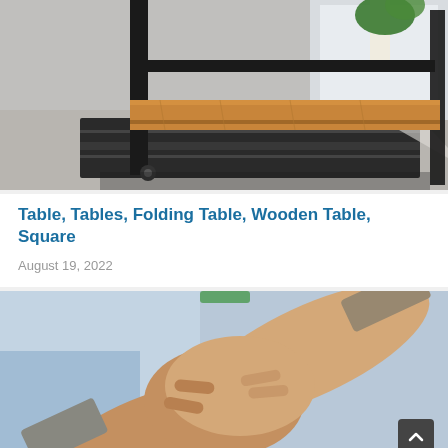[Figure (photo): Photo of a folding wooden table with black metal frame on a dark rug, with a plant visible in the background near a window]
Table, Tables, Folding Table, Wooden Table, Square
August 19, 2022
[Figure (photo): Photo of two people shaking hands in a business setting with a blurred background]